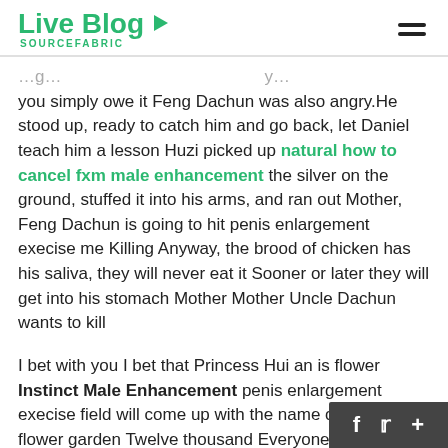Live Blog SOURCEFABRIC
you simply owe it Feng Dachun was also angry.He stood up, ready to catch him and go back, let Daniel teach him a lesson Huzi picked up natural how to cancel fxm male enhancement the silver on the ground, stuffed it into his arms, and ran out Mother, Feng Dachun is going to hit penis enlargement execise me Killing Anyway, the brood of chicken has his saliva, they will never eat it Sooner or later they will get into his stomach Mother Mother Uncle Dachun wants to kill
I bet with you I bet that Princess Hui an is flower Instinct Male Enhancement penis enlargement execise field will come up with the name of the royal flower garden Twelve thousand EveryoneWho wants to bet When the princess saw that they did not speak, she smiled